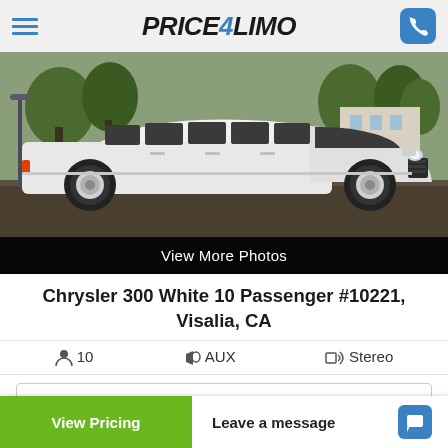Price4Limo — hamburger menu, logo, phone button
[Figure (photo): White stretch Chrysler 300 limousine parked on a road with trees and buildings in the background. Below the photo is a dark bar with 'View More Photos' text.]
Chrysler 300 White 10 Passenger #10221, Visalia, CA
10  AUX  Stereo
View Pricing   Leave a message